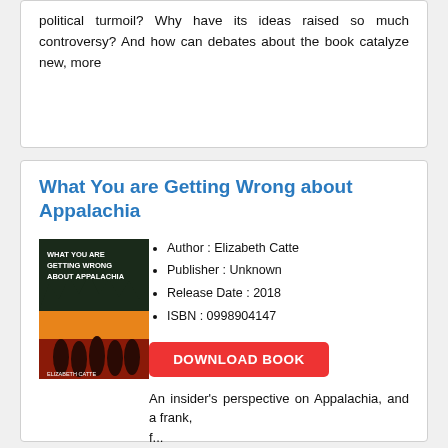political turmoil? Why have its ideas raised so much controversy? And how can debates about the book catalyze new, more
What You are Getting Wrong about Appalachia
[Figure (illustration): Book cover of 'What You Are Getting Wrong About Appalachia' by Elizabeth Catte, featuring dark trees against an orange/red sky and silhouetted figures at the bottom.]
Author : Elizabeth Catte
Publisher : Unknown
Release Date : 2018
ISBN : 0998904147
DOWNLOAD BOOK
An insider's perspective on Appalachia, and a frank, f...